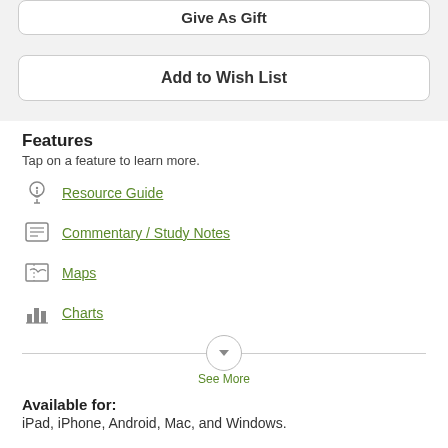Give As Gift
Add to Wish List
Features
Tap on a feature to learn more.
Resource Guide
Commentary / Study Notes
Maps
Charts
See More
Available for: iPad, iPhone, Android, Mac, and Windows.